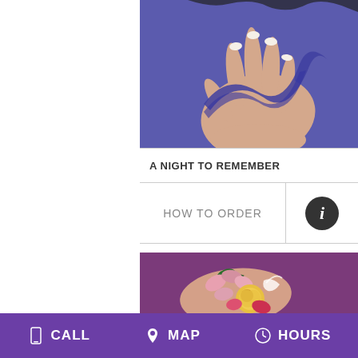[Figure (photo): Close-up of a woman's hand with manicured nails holding a purple ribbon on a blue background]
A NIGHT TO REMEMBER
HOW TO ORDER
[Figure (photo): A wrist corsage with pink alstroemeria, a yellow rose, and white ribbon accents on a purple background]
CALL   MAP   HOURS